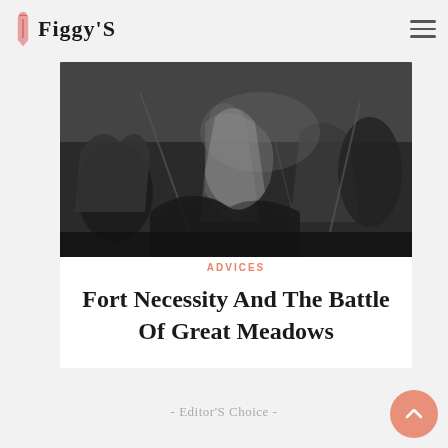Figgy'S
[Figure (photo): Black and white engraving depicting a chaotic battle scene with warriors in classical or historical dress fighting, some fallen on the ground]
ADVICES
Fort Necessity And The Battle Of Great Meadows
- Editor'S Choice -